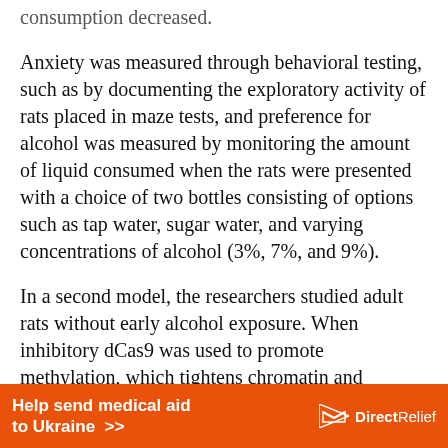consumption decreased.
Anxiety was measured through behavioral testing, such as by documenting the exploratory activity of rats placed in maze tests, and preference for alcohol was measured by monitoring the amount of liquid consumed when the rats were presented with a choice of two bottles consisting of options such as tap water, sugar water, and varying concentrations of alcohol (3%, 7%, and 9%).
In a second model, the researchers studied adult rats without early alcohol exposure. When inhibitory dCas9 was used to promote methylation, which tightens chromatin and prevents transcription factors from binding to DNA, Arc expression decreased and indicators of
[Figure (infographic): Orange banner advertisement reading 'Help send medical aid to Ukraine >>' with Direct Relief logo on the right side]